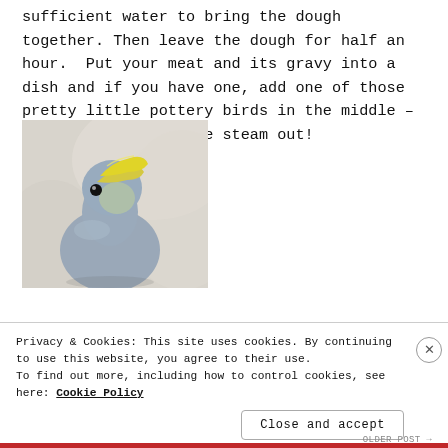sufficient water to bring the dough together. Then leave the dough for half an hour.  Put your meat and its gravy into a dish and if you have one, add one of those pretty little pottery birds in the middle – the ones that let the steam out!
[Figure (photo): Close-up photo of a pottery bird (pie bird/pie funnel) with a yellow beak open wide, grey-blue ceramic body, used to vent steam from pies]
Privacy & Cookies: This site uses cookies. By continuing to use this website, you agree to their use.
To find out more, including how to control cookies, see here: Cookie Policy
Close and accept